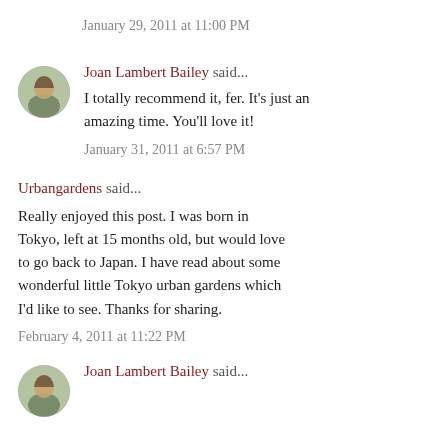January 29, 2011 at 11:00 PM
Joan Lambert Bailey said...
I totally recommend it, fer. It's just an amazing time. You'll love it!
January 31, 2011 at 6:57 PM
Urbangardens said...
Really enjoyed this post. I was born in Tokyo, left at 15 months old, but would love to go back to Japan. I have read about some wonderful little Tokyo urban gardens which I'd like to see. Thanks for sharing.
February 4, 2011 at 11:22 PM
Joan Lambert Bailey said...